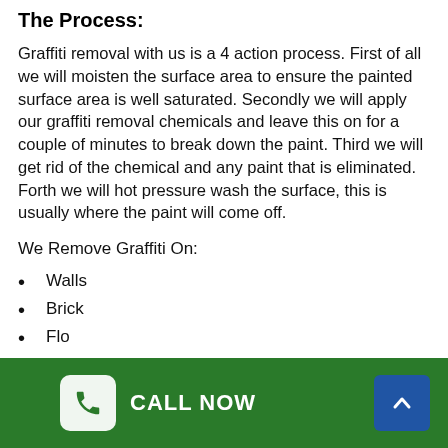The Process:
Graffiti removal with us is a 4 action process. First of all we will moisten the surface area to ensure the painted surface area is well saturated. Secondly we will apply our graffiti removal chemicals and leave this on for a couple of minutes to break down the paint. Third we will get rid of the chemical and any paint that is eliminated. Forth we will hot pressure wash the surface, this is usually where the paint will come off.
We Remove Graffiti On:
Walls
Brick
Flo...
CALL NOW